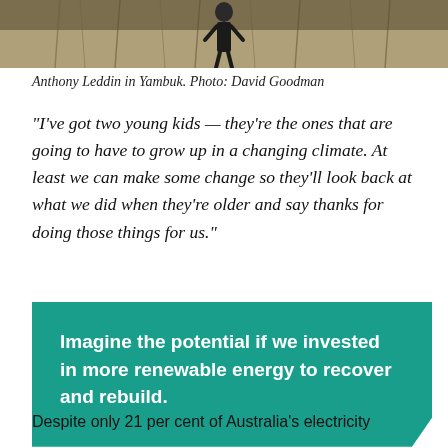[Figure (photo): Person standing in front of tall grass/reeds, outdoor landscape scene]
Anthony Leddin in Yambuk. Photo: David Goodman
“I’ve got two young kids — they’re the ones that are going to have to grow up in a changing climate. At least we can make some change so they’ll look back at what we did when they’re older and say thanks for doing those things for us.”
Imagine the potential if we invested in more renewable energy to recover and rebuild.
Despite only 21 per cent of Australia’s electricity